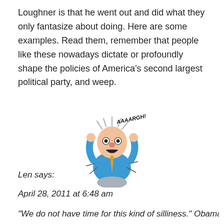Loughner is that he went out and did what they only fantasize about doing. Here are some examples. Read them, remember that people like these nowadays dictate or profoundly shape the policies of America's second largest political party, and weep.
[Figure (illustration): Cartoon of a frustrated man in a blue shirt and tie grabbing his head and screaming 'AAAARGH!']
Len says:
April 28, 2011 at 6:48 am
"We do not have time for this kind of silliness." Obama